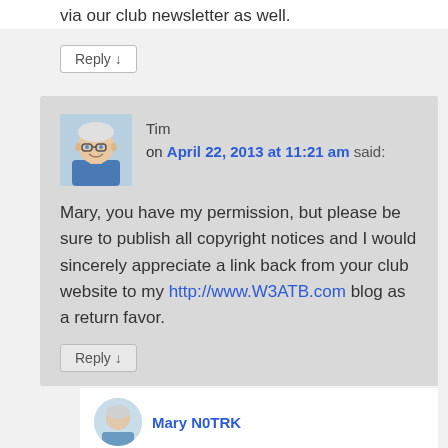via our club newsletter as well.
Reply ↓
Tim on April 22, 2013 at 11:21 am said:
Mary, you have my permission, but please be sure to publish all copyright notices and I would sincerely appreciate a link back from your club website to my http://www.W3ATB.com blog as a return favor.
Reply ↓
Mary N0TRK